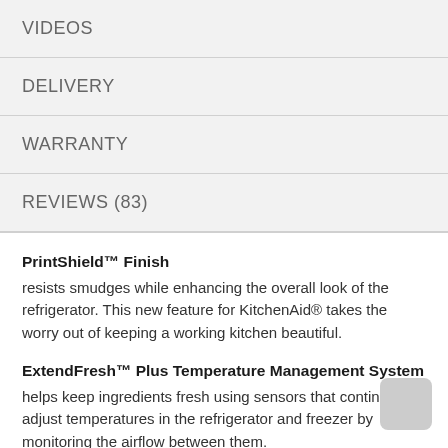VIDEOS
DELIVERY
WARRANTY
REVIEWS (83)
PrintShield™ Finish
resists smudges while enhancing the overall look of the refrigerator. This new feature for KitchenAid® takes the worry out of keeping a working kitchen beautiful.
ExtendFresh™ Plus Temperature Management System
helps keep ingredients fresh using sensors that continuously adjust temperatures in the refrigerator and freezer by monitoring the airflow between them.
Produce Preserver
Absorbs ethylene gas emitted by many fruits and vegetables, maximizing the storage experience. Preserving...